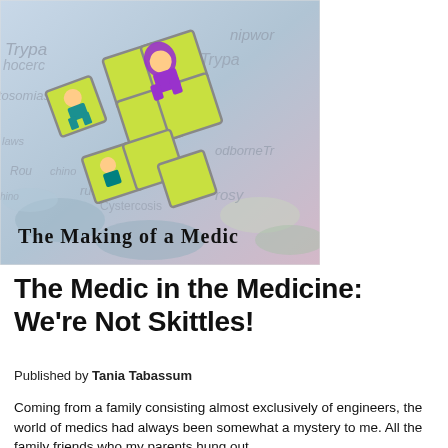[Figure (illustration): Illustrated book cover image titled 'The Making of a Medic' showing cartoon characters inside a Rubik's cube-like structure with medical disease names in the background (Trypanosomiasis, Foodborne, Leprosy, Echinococcus, Cysticercosis, etc.) and colorful pills/tablets.]
The Medic in the Medicine: We're Not Skittles!
Published by Tania Tabassum
Coming from a family consisting almost exclusively of engineers, the world of medics had always been somewhat a mystery to me. All the family friends who my parents hung out